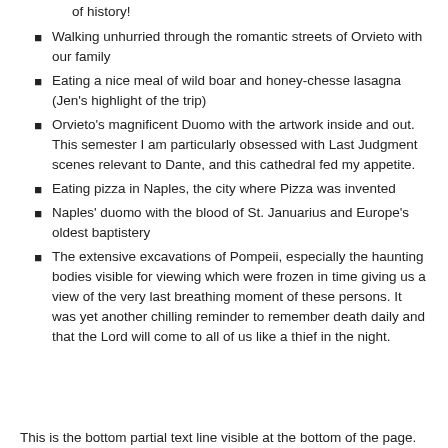because it's not something you'd really expect from the outside and not something you find in ads. Amazing piece of history!
Walking unhurried through the romantic streets of Orvieto with our family
Eating a nice meal of wild boar and honey-chesse lasagna (Jen's highlight of the trip)
Orvieto's magnificent Duomo with the artwork inside and out. This semester I am particularly obsessed with Last Judgment scenes relevant to Dante, and this cathedral fed my appetite.
Eating pizza in Naples, the city where Pizza was invented
Naples' duomo with the blood of St. Januarius and Europe's oldest baptistery
The extensive excavations of Pompeii, especially the haunting bodies visible for viewing which were frozen in time giving us a view of the very last breathing moment of these persons. It was yet another chilling reminder to remember death daily and that the Lord will come to all of us like a thief in the night.
This is the bottom partial text line visible at the bottom of the page.